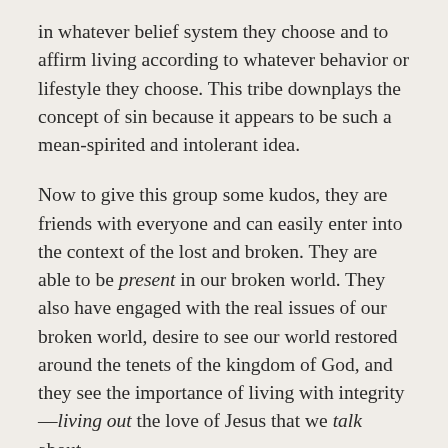in whatever belief system they choose and to affirm living according to whatever behavior or lifestyle they choose. This tribe downplays the concept of sin because it appears to be such a mean-spirited and intolerant idea.
Now to give this group some kudos, they are friends with everyone and can easily enter into the context of the lost and broken. They are able to be present in our broken world. They also have engaged with the real issues of our broken world, desire to see our world restored around the tenets of the kingdom of God, and they see the importance of living with integrity—living out the love of Jesus that we talk about.